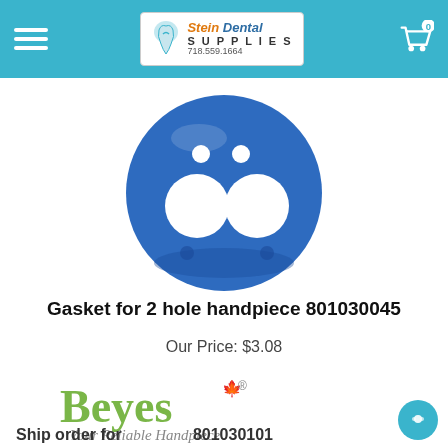Stein Dental Supplies 718.559.1664
[Figure (photo): Blue rubber gasket for 2 hole handpiece, circular shape with two large holes and two small holes on top]
Gasket for 2 hole handpiece 801030045
Our Price: $3.08
[Figure (logo): Beyes logo with maple leaf - 'Beyes Your Reliable Handpiece']
Ship order for 801030101